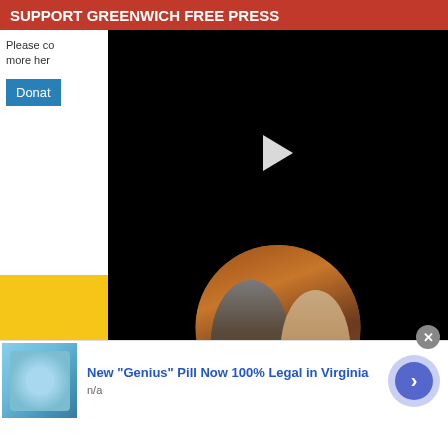SUPPORT GREENWICH FREE PRESS
Please co
more her
Donat
[Figure (screenshot): Black video player panel with a white play button triangle in the center]
[Figure (photo): Yellow background section with a circular cropped photo of two people, a man and a woman, in front of a decorative background]
[Figure (screenshot): Advertisement: New Genius Pill Now 100% Legal in Virginia. Shows blue pill image on left, text in center, and a blue arrow button on right. Source: n/a]